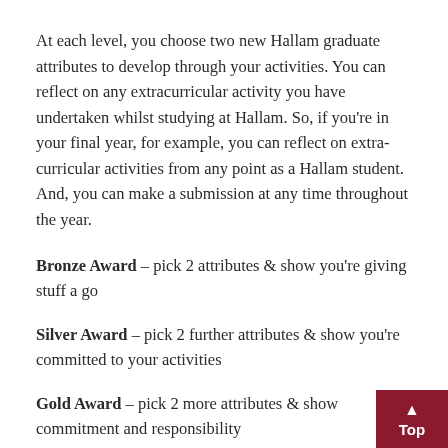At each level, you choose two new Hallam graduate attributes to develop through your activities. You can reflect on any extracurricular activity you have undertaken whilst studying at Hallam. So, if you're in your final year, for example, you can reflect on extra-curricular activities from any point as a Hallam student. And, you can make a submission at any time throughout the year.
Bronze Award – pick 2 attributes & show you're giving stuff a go
Silver Award – pick 2 further attributes & show you're committed to your activities
Gold Award – pick 2 more attributes & show commitment and responsibility
You will see that you will have 12 attributes to choos...